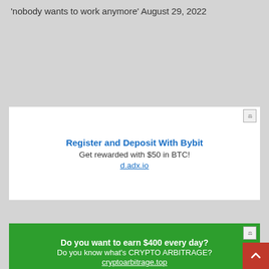'nobody wants to work anymore' August 29, 2022
[Figure (other): Advertisement banner: Register and Deposit With Bybit. Get rewarded with $50 in BTC! d.adx.io]
[Figure (other): Advertisement banner (green background): Do you want to earn $400 every day? Do you know what's CRYPTO ARBITRAGE? cryptoarbitrage.top]